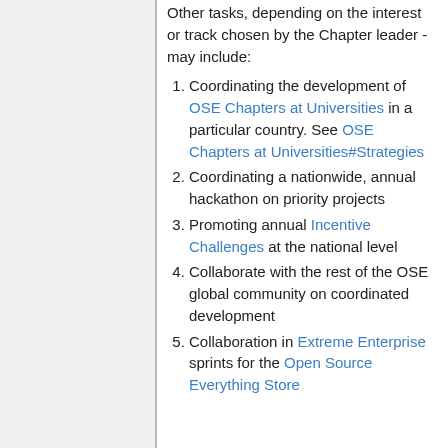Other tasks, depending on the interest or track chosen by the Chapter leader - may include:
1. Coordinating the development of OSE Chapters at Universities in a particular country. See OSE Chapters at Universities#Strategies
2. Coordinating a nationwide, annual hackathon on priority projects
3. Promoting annual Incentive Challenges at the national level
4. Collaborate with the rest of the OSE global community on coordinated development
5. Collaboration in Extreme Enterprise sprints for the Open Source Everything Store